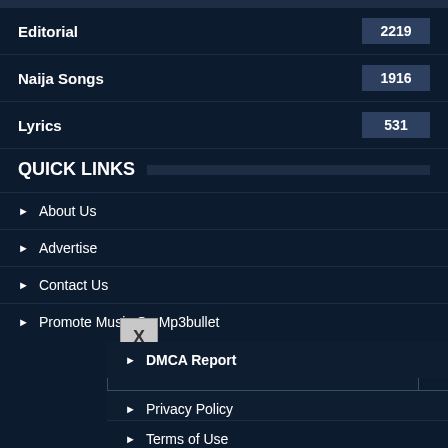Editorial 2219
Naija Songs 1916
Lyrics 531
QUICK LINKS
About Us
Advertise
Contact Us
Promote Music On Mp3bullet
DMCA Report
Privacy Policy
Terms of Use